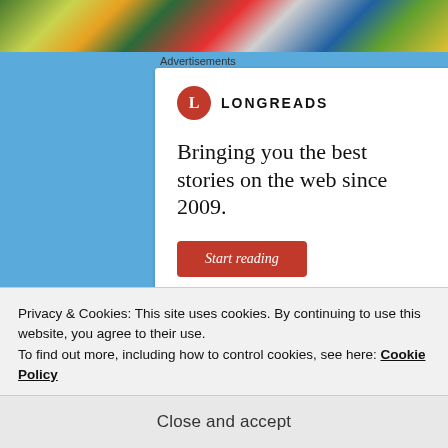[Figure (screenshot): Colorful embroidered patches banner at top of webpage]
Advertisements
[Figure (illustration): Longreads advertisement card with red circular L logo, tagline 'Bringing you the best stories on the web since 2009.' and a red 'Start reading' button]
Privacy & Cookies: This site uses cookies. By continuing to use this website, you agree to their use.
To find out more, including how to control cookies, see here: Cookie Policy
Close and accept